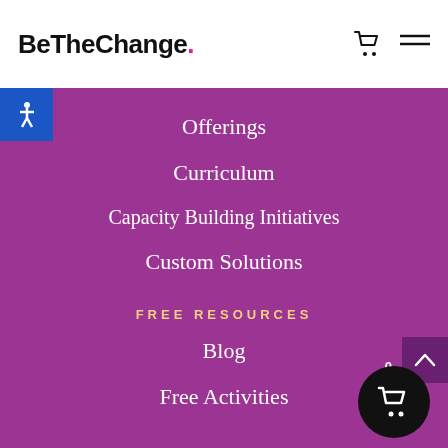BeTheChange
Offerings
Curriculum
Capacity Building Initiatives
Custom Solutions
FREE RESOURCES
Blog
Free Activities